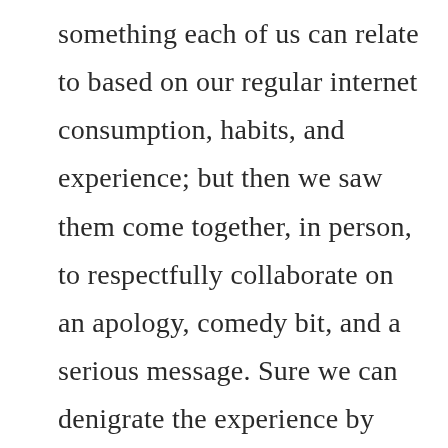something each of us can relate to based on our regular internet consumption, habits, and experience; but then we saw them come together, in person, to respectfully collaborate on an apology, comedy bit, and a serious message. Sure we can denigrate the experience by showing how it was rigged or how it was disingenuous; but